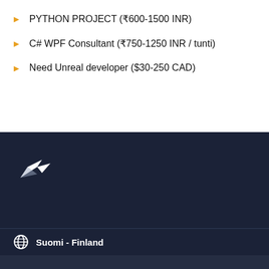PYTHON PROJECT (₹600-1500 INR)
C# WPF Consultant (₹750-1250 INR / tunti)
Need Unreal developer ($30-250 CAD)
[Figure (logo): Freelancer.com hummingbird logo in white on dark navy background]
Suomi - Finland
Tarvitseeko sinun palkata freelancer työhön?
Ilmoita projekti